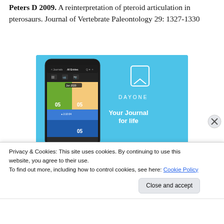Peters D 2009. A reinterpretation of pteroid articulation in pterosaurs. Journal of Vertebrate Paleontology 29: 1327-1330
[Figure (screenshot): DayOne app advertisement showing a smartphone mockup with journal app interface on a blue background, with logo and tagline 'Your Journal for life']
Privacy & Cookies: This site uses cookies. By continuing to use this website, you agree to their use.
To find out more, including how to control cookies, see here: Cookie Policy